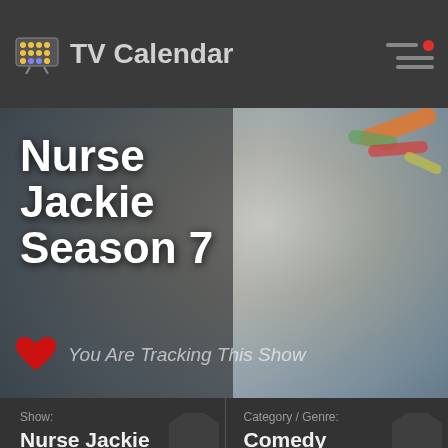TV Calendar
[Figure (screenshot): Nurse Jackie Season 7 hero image showing a woman (nurse) with pills and medical items in background, split with dark overlay on left]
Nurse Jackie Season 7
You Are Tracking This Show
| Field | Value |
| --- | --- |
| Show: | Nurse Jackie |
| Category / Genre: | Comedy |
| Network : | Showtime |
| Broadcast Airs : | Sunday, 9:00pm |